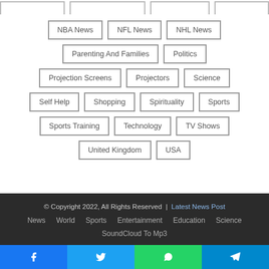NBA News
NFL News
NHL News
Parenting And Families
Politics
Projection Screens
Projectors
Science
Self Help
Shopping
Spirituality
Sports
Sports Training
Technology
TV Shows
United Kingdom
USA
© Copyright 2022, All Rights Reserved | Latest News Post
News  World  Sports  Entertainment  Education  Science
SoundCloud To Mp3
Facebook  Twitter  WhatsApp  Telegram